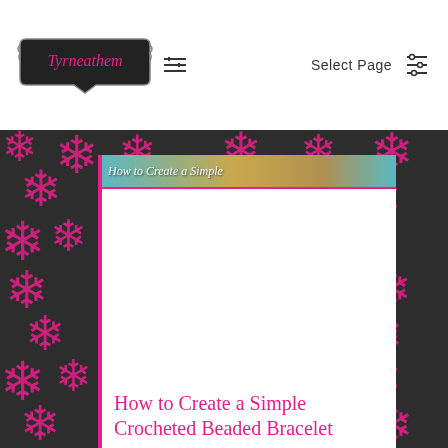Tyrneathem — Select Page
[Figure (photo): Blog article thumbnail showing text 'How to Create a Simple' on a decorative banner strip]
How to Create a Simple Crocheted Beaded Bracelet
Feb 7, 2015 | Diversions, Patterns From My Needles,